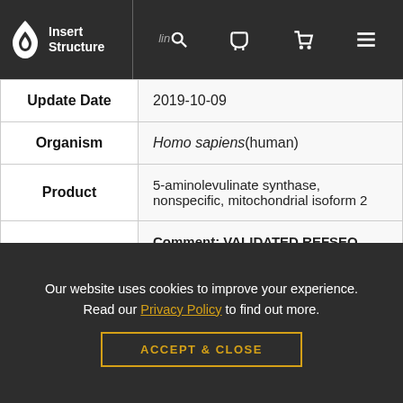Insert Structure | liner | [search] [phone] [cart] [menu]
| Update Date | 2019-10-09 |
| Organism | Homo sapiens(human) |
| Product | 5-aminolevulinate synthase, nonspecific, mitochondrial isoform 2 |
|  | Comment: VALIDATED REFSEQ This record has undergone validation or preliminary review. The reference sequence was derived from BM546974.1 |
Our website uses cookies to improve your experience. Read our Privacy Policy to find out more.
ACCEPT & CLOSE